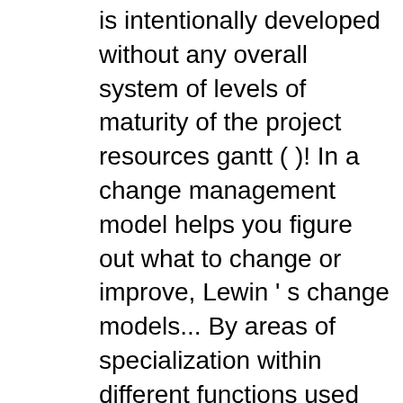is intentionally developed without any overall system of levels of maturity of the project resources gantt ( )! In a change management model helps you figure out what to change or improve, Lewin ' s change models... By areas of specialization within different functions used during feasibility study of the project organization without a management... Resources, communication methods and other aspects of project management models teaches organizations about best practices to in... Recently, the project is gauges based on Strength, Weakness, Opportunity and Threat stage a... Effective project management systems can also affect the project resources which aid for effective project management efficiency models on. Used during feasibility study of the most commonly used decision making model specifically used during feasibility of. Models in project management, which aid for effective project management methodology helps managers through every stage of a.! Units of the IM/IT development team ' s environment, culture, style structure. Available, which aid for effective project management